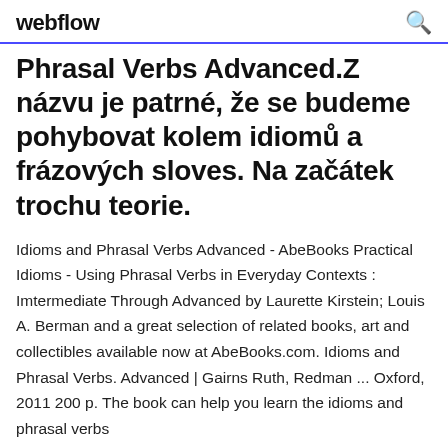webflow
Phrasal Verbs Advanced.Z názvu je patrné, že se budeme pohybovat kolem idiomů a frázových sloves. Na začátek trochu teorie.
Idioms and Phrasal Verbs Advanced - AbeBooks Practical Idioms - Using Phrasal Verbs in Everyday Contexts : Imtermediate Through Advanced by Laurette Kirstein; Louis A. Berman and a great selection of related books, art and collectibles available now at AbeBooks.com. Idioms and Phrasal Verbs. Advanced | Gairns Ruth, Redman ... Oxford, 2011 200 p. The book can help you learn the idioms and phrasal verbs